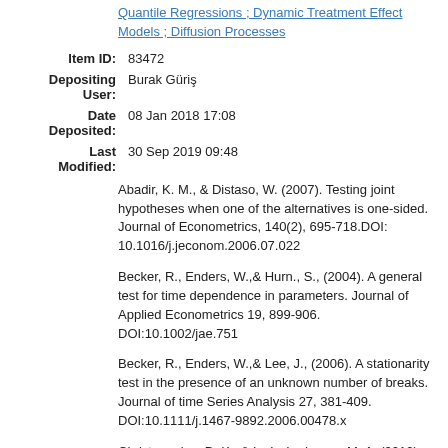Quantile Regressions ; Dynamic Treatment Effect Models ; Diffusion Processes
| Item ID: | 83472 |
| Depositing User: | Burak Güriş |
| Date Deposited: | 08 Jan 2018 17:08 |
| Last Modified: | 30 Sep 2019 09:48 |
Abadir, K. M., & Distaso, W. (2007). Testing joint hypotheses when one of the alternatives is one-sided. Journal of Econometrics, 140(2), 695-718.DOI: 10.1016/j.jeconom.2006.07.022
Becker, R., Enders, W.,& Hurn., S., (2004). A general test for time dependence in parameters. Journal of Applied Econometrics 19, 899-906. DOI:10.1002/jae.751
Becker, R., Enders, W.,& Lee, J., (2006). A stationarity test in the presence of an unknown number of breaks. Journal of time Series Analysis 27, 381-409. DOI:10.1111/j.1467-9892.2006.00478.x
Christopoulos, D. K., & León-Ledesma, M. A. (2010). Smooth breaks and non-linear mean reversion: Post-Bretton Woods real exchange rates. Journal of International Money and Finance, 29(6), 1076-1093. DOI: